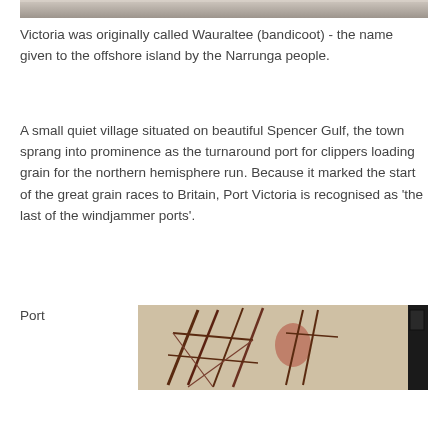[Figure (photo): Top portion of a photo, showing a beige/grey surface, partially cropped at the top of the page.]
Victoria was originally called Wauraltee (bandicoot) - the name given to the offshore island by the Narrunga people.
A small quiet village situated on beautiful Spencer Gulf, the town sprang into prominence as the turnaround port for clippers loading grain for the northern hemisphere run. Because it marked the start of the great grain races to Britain, Port Victoria is recognised as 'the last of the windjammer ports'.
Port
[Figure (photo): A photograph showing what appears to be ship masts or rigging lines displayed against a light background, possibly inside a museum or building. A dark framed item is visible on the right edge.]